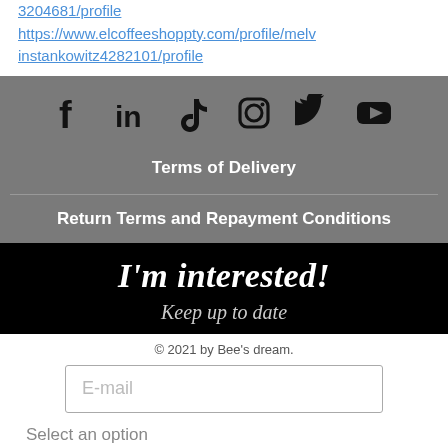3204681/profile
https://www.elcoffeeshoppty.com/profile/melvinstankowitz4282101/profile
[Figure (infographic): Social media icons row: Facebook, LinkedIn, TikTok, Instagram, Twitter, YouTube on gray background]
Terms of Delivery
Return Terms and Repayment Conditions
I'm interested!
Keep up to date
© 2021 by Bee's dream.
E-mail
Legal Notice
Select an option
I am a beekeeper
Payment Terms
I am a consumer